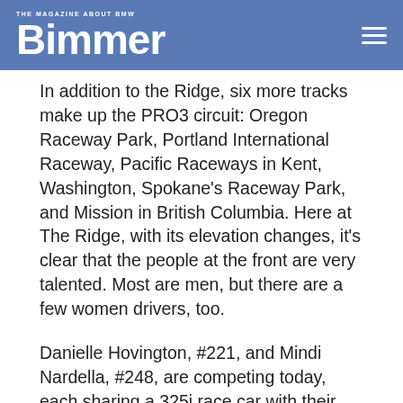THE MAGAZINE ABOUT BMW Bimmer
In addition to the Ridge, six more tracks make up the PRO3 circuit: Oregon Raceway Park, Portland International Raceway, Pacific Raceways in Kent, Washington, Spokane’s Raceway Park, and Mission in British Columbia. Here at The Ridge, with its elevation changes, it’s clear that the people at the front are very talented. Most are men, but there are a few women drivers, too.
Danielle Hovington, #221, and Mindi Nardella, #248, are competing today, each sharing a 325i race car with their husbands.
“I started racing about four years ago,” says